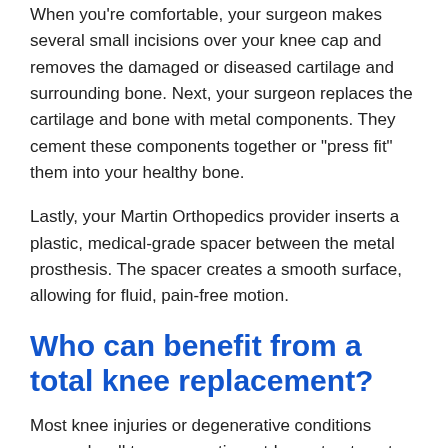When you're comfortable, your surgeon makes several small incisions over your knee cap and removes the damaged or diseased cartilage and surrounding bone. Next, your surgeon replaces the cartilage and bone with metal components. They cement these components together or "press fit" them into your healthy bone.
Lastly, your Martin Orthopedics provider inserts a plastic, medical-grade spacer between the metal prosthesis. The spacer creates a smooth surface, allowing for fluid, pain-free motion.
Who can benefit from a total knee replacement?
Most knee injuries or degenerative conditions respond well to conservative, at-home treatments like ice, rest, and physical therapy. You might benefit from a total knee